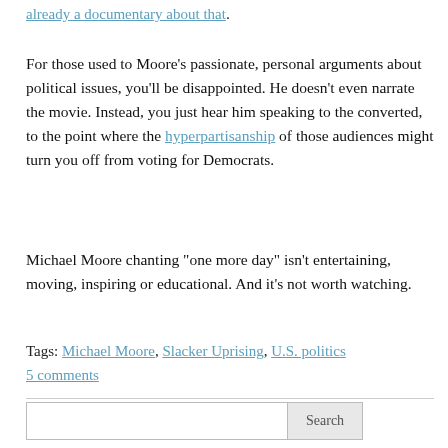already a documentary about that.
For those used to Moore’s passionate, personal arguments about political issues, you’ll be disappointed. He doesn’t even narrate the movie. Instead, you just hear him speaking to the converted, to the point where the hyperpartisanship of those audiences might turn you off from voting for Democrats.
Michael Moore chanting “one more day” isn’t entertaining, moving, inspiring or educational. And it’s not worth watching.
Tags: Michael Moore, Slacker Uprising, U.S. politics
5 comments